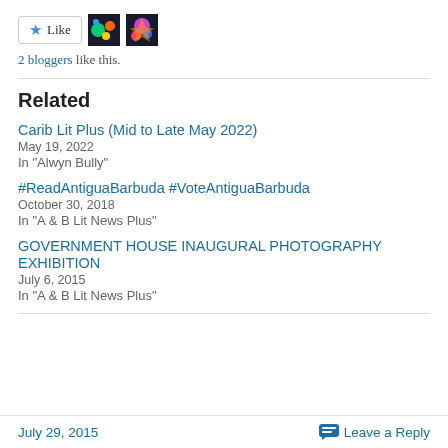[Figure (other): Like button with star icon and two blogger avatar thumbnails]
2 bloggers like this.
Related
Carib Lit Plus (Mid to Late May 2022)
May 19, 2022
In "Alwyn Bully"
#ReadAntiguaBarbuda #VoteAntiguaBarbuda
October 30, 2018
In "A & B Lit News Plus"
GOVERNMENT HOUSE INAUGURAL PHOTOGRAPHY EXHIBITION
July 6, 2015
In "A & B Lit News Plus"
July 29, 2015   Leave a Reply